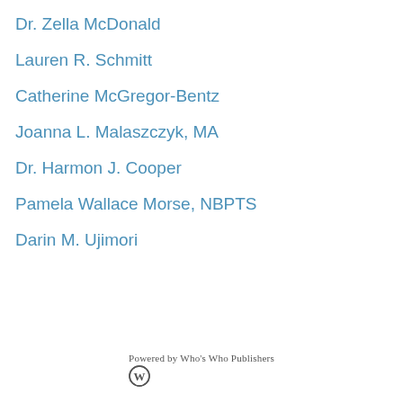Dr. Zella McDonald
Lauren R. Schmitt
Catherine McGregor-Bentz
Joanna L. Malaszczyk, MA
Dr. Harmon J. Cooper
Pamela Wallace Morse, NBPTS
Darin M. Ujimori
Powered by Who's Who Publishers